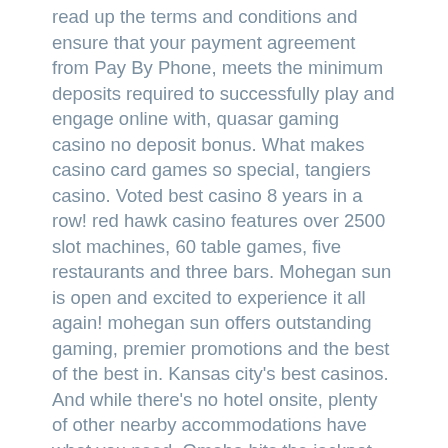read up the terms and conditions and ensure that your payment agreement from Pay By Phone, meets the minimum deposits required to successfully play and engage online with, quasar gaming casino no deposit bonus. What makes casino card games so special, tangiers casino. Voted best casino 8 years in a row! red hawk casino features over 2500 slot machines, 60 table games, five restaurants and three bars. Mohegan sun is open and excited to experience it all again! mohegan sun offers outstanding gaming, premier promotions and the best of the best in. Kansas city's best casinos. And while there's no hotel onsite, plenty of other nearby accommodations have what you need. Omaha hits the jackpot with casinos just a short ride from downtown. Home of the best odds, highest limits, and biggest jackpots. Las vegas may be america's biggest gaming mecca, but it doesn't hold all the cards. Many less famous gambling